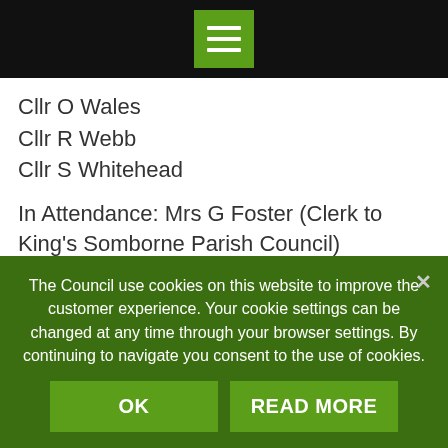Menu icon / navigation bar
Cllr O Wales
Cllr R Webb
Cllr S Whitehead
In Attendance: Mrs G Foster (Clerk to King's Somborne Parish Council)
Also present: 15 members of the public were present for part of the meeting.
340. Apologies for Absence
The Council use cookies on this website to improve the customer experience. Your cookie settings can be changed at any time through your browser settings. By continuing to navigate you consent to the use of cookies.